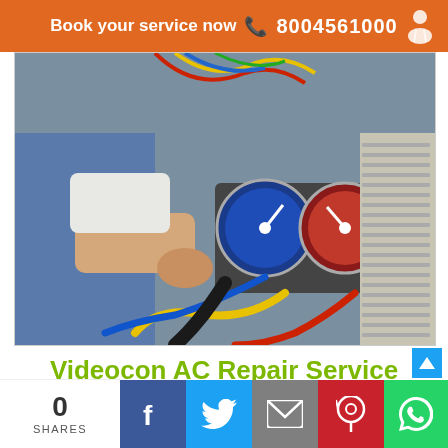Book your service now  📞 8004561000
[Figure (photo): AC technician working on an AC unit, handling refrigerant gauges and hoses with colorful wiring and metal AC housing visible]
Videocon AC Repair Service Center In Bhopal
0
SHARES